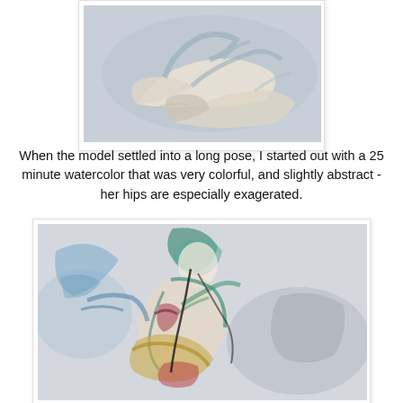[Figure (illustration): Watercolor painting of ballet pointe shoes, pale tones with blue-grey background, loose brushwork]
When the model settled into a long pose, I started out with a 25 minute watercolor that was very colorful, and slightly abstract - her hips are especially exagerated.
[Figure (illustration): Colorful abstract watercolor figure painting of a seated female model, exaggerated hips, loose expressive brushwork with blue, teal, red, yellow, and green strokes]